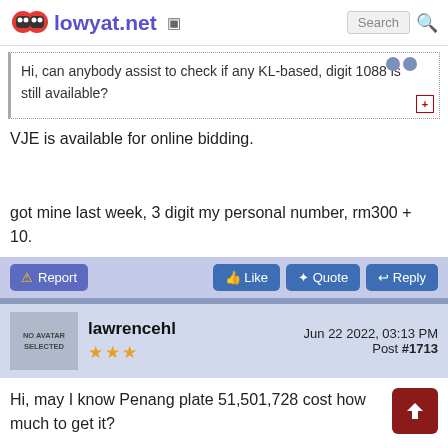lowyat.net
Hi, can anybody assist to check if any KL-based, digit 1088 is still available?
VJE is available for online bidding.
got mine last week, 3 digit my personal number, rm300 + 10.
lawrencehl  Jun 22 2022, 03:13 PM  Post #1713
Hi, may I know Penang plate 51,501,728 cost how much to get it?